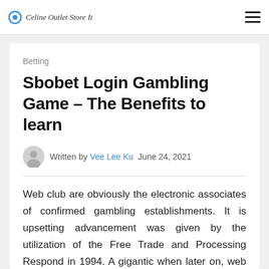Celine Outlet Store It
Betting
Sbobet Login Gambling Game – The Benefits to learn
Written by Vee Lee Ku  June 24, 2021
Web club are obviously the electronic associates of confirmed gambling establishments. It is upsetting advancement was given by the utilization of the Free Trade and Processing Respond in 1994. A gigantic when later on, web gambling clubs disconnected through like new mushrooms, pulling in a wide